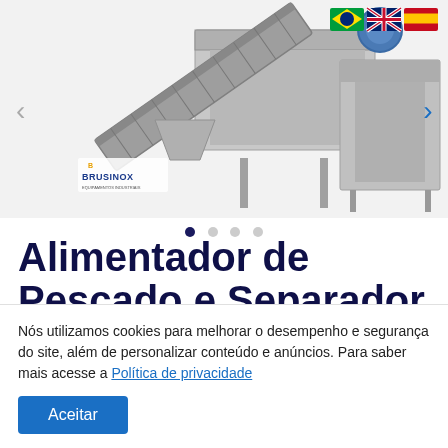[Figure (photo): Industrial fish feeder and separator machine (conveyor belt system in stainless steel) with Brusinox logo in bottom left of the image. Navigation arrows on left and right sides. Three flag icons (Brazil, UK, Spain) in top right corner.]
Alimentador de Pescado e Separador de Gelo
Nós utilizamos cookies para melhorar o desempenho e segurança do site, além de personalizar conteúdo e anúncios. Para saber mais acesse a Política de privacidade
Aceitar